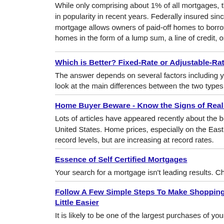While only comprising about 1% of all mortgages, the reverse mortgage has gained in popularity in recent years. Federally insured since the late 1980's, the reverse mortgage allows owners of paid-off homes to borrow against the equity in their homes in the form of a lump sum, a line of credit, or in the form of monthly payments.
Which is Better? Fixed-Rate or Adjustable-Rate Mortgages
The answer depends on several factors including your financial situation. Lets take a look at the main differences between the two types of mortgages.
Home Buyer Beware - Know the Signs of Real Estate Market Trouble
Lots of articles have appeared recently about the booming real estate market in the United States. Home prices, especially on the East and West coasts, are not only at record levels, but are increasing at record rates.
Essence of Self Certified Mortgages
Your search for a mortgage isn't leading results. Check for any impediments.
Follow A Few Simple Steps To Make Shopping For Your New Home Loan A Little Easier
It is likely to be one of the largest purchases of your life, and it can be extremely nerve